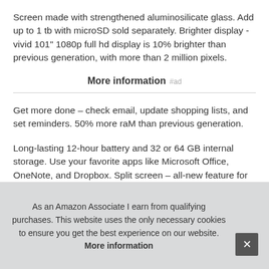Screen made with strengthened aluminosilicate glass. Add up to 1 tb with microSD sold separately. Brighter display - vivid 101" 1080p full hd display is 10% brighter than previous generation, with more than 2 million pixels.
More information #ad
Get more done – check email, update shopping lists, and set reminders. 50% more raM than previous generation.
Long-lasting 12-hour battery and 32 or 64 GB internal storage. Use your favorite apps like Microsoft Office, OneNote, and Dropbox. Split screen – all-new feature for fire OS that shows two [partially obscured] Vide[partially obscured] resp[partially obscured] Han[partially obscured]
As an Amazon Associate I earn from qualifying purchases. This website uses the only necessary cookies to ensure you get the best experience on our website. More information